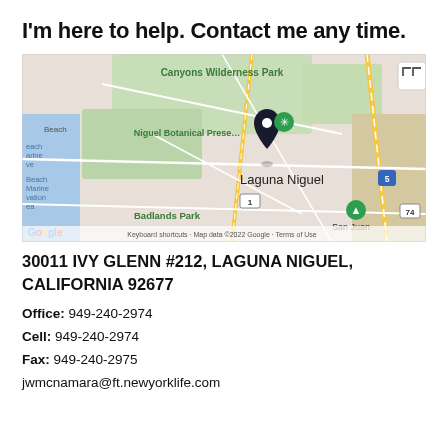I'm here to help. Contact me any time.
[Figure (map): Google Maps screenshot showing Laguna Niguel area in California, with a location pin dropped near Niguel Botanical Preserve, labeled 'Laguna Niguel'. Visible landmarks include Canyons Wilderness Park, Badlands Park, freeway I-5 and route 74. Map data ©2022 Google.]
30011 IVY GLENN #212, LAGUNA NIGUEL, CALIFORNIA 92677
Office: 949-240-2974
Cell: 949-240-2974
Fax: 949-240-2975
jwmcnamara@ft.newyorklife.com